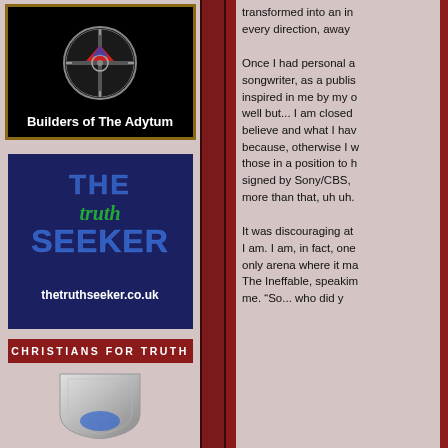[Figure (logo): Builders of The Adytum logo with circular compass/cross emblem on black background]
[Figure (logo): The Truth Seeker logo — large blue stylized text THE TRUTH SEEKER on dark navy background with URL thetruthseeker.co.uk]
CHRISTIANS FOR TRUTH
[Figure (logo): Partial silver shield logo at bottom of left sidebar]
transformed into an in every direction, away
Once I had personal a songwriter, as a publis inspired in me by my o well but... I am closed believe and what I hav because, otherwise I w those in a position to h signed by Sony/CBS, more than that, uh uh.
It was discouraging at I am. I am, in fact, one only arena where it ma The Ineffable, speakim me. "So... who did y